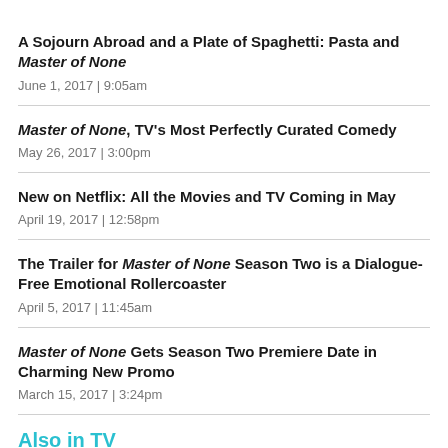A Sojourn Abroad and a Plate of Spaghetti: Pasta and Master of None
June 1, 2017  |  9:05am
Master of None, TV's Most Perfectly Curated Comedy
May 26, 2017  |  3:00pm
New on Netflix: All the Movies and TV Coming in May
April 19, 2017  |  12:58pm
The Trailer for Master of None Season Two is a Dialogue-Free Emotional Rollercoaster
April 5, 2017  |  11:45am
Master of None Gets Season Two Premiere Date in Charming New Promo
March 15, 2017  |  3:24pm
Also in TV
Starz's The Spanish Princess Tells Catherine of